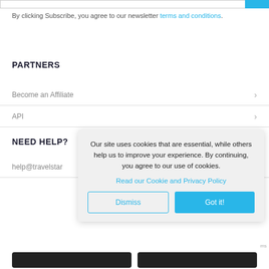By clicking Subscribe, you agree to our newsletter terms and conditions.
PARTNERS
Become an Affiliate
API
NEED HELP?
help@travelstar
Our site uses cookies that are essential, while others help us to improve your experience. By continuing, you agree to our use of cookies.
Read our Cookie and Privacy Policy
Dismiss
Got it!